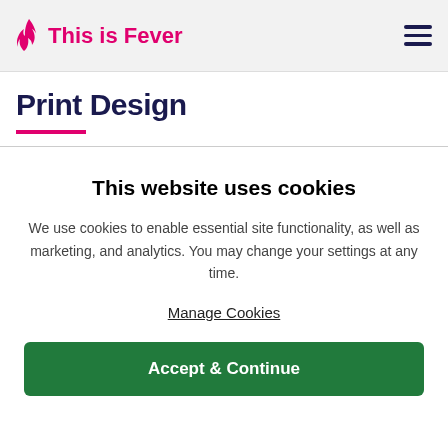This is Fever
Print Design
This website uses cookies
We use cookies to enable essential site functionality, as well as marketing, and analytics. You may change your settings at any time.
Manage Cookies
Accept & Continue